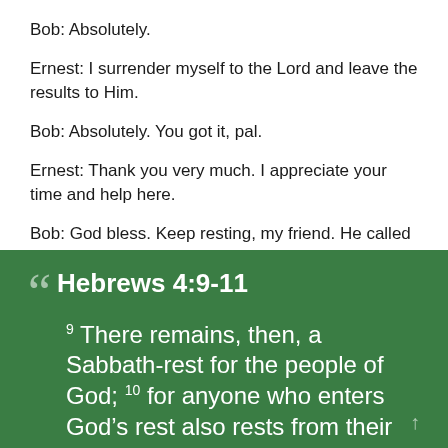Bob: Absolutely.
Ernest: I surrender myself to the Lord and leave the results to Him.
Bob: Absolutely. You got it, pal.
Ernest: Thank you very much. I appreciate your time and help here.
Bob: God bless. Keep resting, my friend. He called us to a rest. So I laughingly say, “Take a vacation in Jesus.”
Hebrews 4:9-11
⁹ There remains, then, a Sabbath-rest for the people of God; ¹⁰ for anyone who enters God’s rest also rests from their